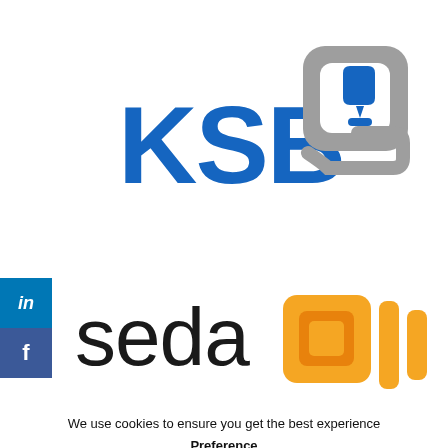[Figure (logo): KSB logo with blue letters 'KSB' and a grey square icon with a blue arrow/pump symbol]
[Figure (logo): seda logo with black lowercase text 'seda' and an orange square/layered icon]
We use cookies to ensure you get the best experience
Preference
Allow All
Disable All